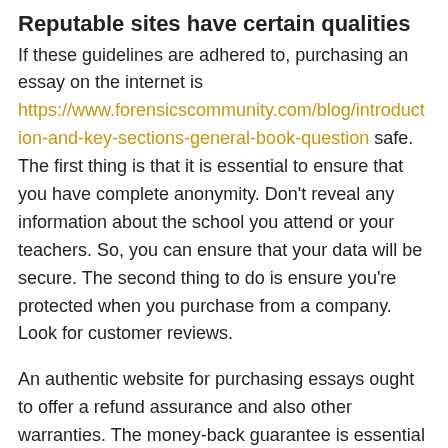Reputable sites have certain qualities
If these guidelines are adhered to, purchasing an essay on the internet is https://www.forensicscommunity.com/blog/introduction-and-key-sections-general-book-question safe. The first thing is that it is essential to ensure that you have complete anonymity. Don't reveal any information about the school you attend or your teachers. So, you can ensure that your data will be secure. The second thing to do is ensure you're protected when you purchase from a company. Look for customer reviews.
An authentic website for purchasing essays ought to offer a refund assurance and also other warranties. The money-back guarantee is essential in the event that students are not satisfied of their essay. An authentic website selling low-cost essays will give a refund for any mistakes in your paper. This assurance could be limited or total, depending upon